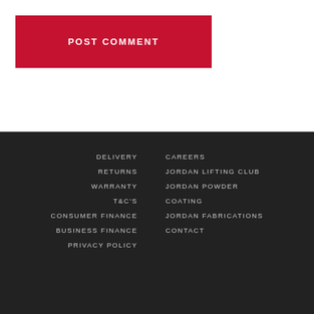POST COMMENT
DELIVERY
RETURNS
WARRANTY
T&C'S
CONSUMER FINANCE
BUSINESS FINANCE
PRIVACY POLICY
CAREERS
JORDAN LIFTING CLUB
JORDAN POWDER COATING
JORDAN FABRICATIONS
CONTACT
FOLLOW US